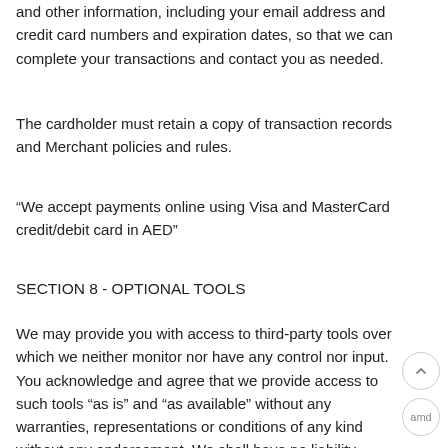and other information, including your email address and credit card numbers and expiration dates, so that we can complete your transactions and contact you as needed.
The cardholder must retain a copy of transaction records and Merchant policies and rules.
“We accept payments online using Visa and MasterCard credit/debit card in AED”
SECTION 8 - OPTIONAL TOOLS
We may provide you with access to third-party tools over which we neither monitor nor have any control nor input. You acknowledge and agree that we provide access to such tools “as is” and “as available” without any warranties, representations or conditions of any kind without any endorsement. We shall have no liability